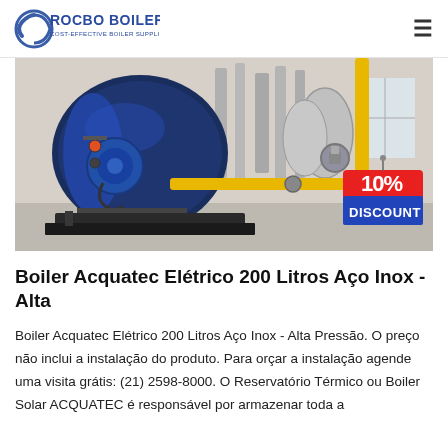ROCBO BOILER - COST-EFFECTIVE BOILER SUPPLIER
[Figure (photo): Industrial boiler room with large blue cylindrical boiler, yellow gas pipe, valves and equipment. A red and blue tag reads '10% DISCOUNT'.]
Boiler Acquatec Elétrico 200 Litros Aço Inox - Alta
Boiler Acquatec Elétrico 200 Litros Aço Inox - Alta Pressão. O preço não inclui a instalação do produto. Para orçar a instalação agende uma visita grátis: (21) 2598-8000. O Reservatório Térmico ou Boiler Solar ACQUATEC é responsável por armazenar toda a